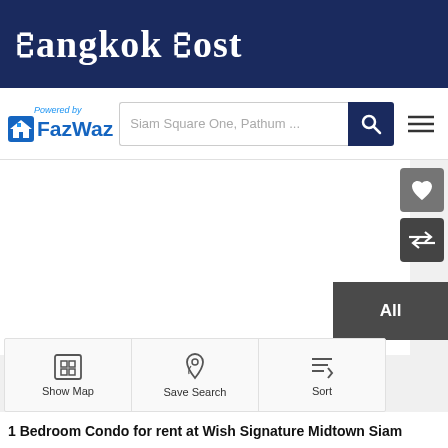Bangkok Post
[Figure (logo): FazWaz logo with 'Powered by' text and house icon, with search bar showing 'Siam Square One, Pathum ...' and search button and hamburger menu]
[Figure (screenshot): Main property listing image area, mostly white/blank with heart and compare buttons on right side, dark overlay bottom right corner with text, bottom toolbar with Show Map, Save Search, Sort buttons]
1 Bedroom Condo for rent at Wish Signature Midtown Siam